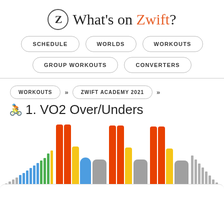What's on Zwift?
SCHEDULE
WORLDS
WORKOUTS
GROUP WORKOUTS
CONVERTERS
WORKOUTS >> ZWIFT ACADEMY 2021 >>
1. VO2 Over/Unders
[Figure (bar-chart): Workout intensity chart for VO2 Over/Unders showing colored bars representing different training zones: warm-up ramp (gray/blue/green), main intervals with orange, yellow, blue and gray blocks representing over/under efforts, and cool-down blocks]